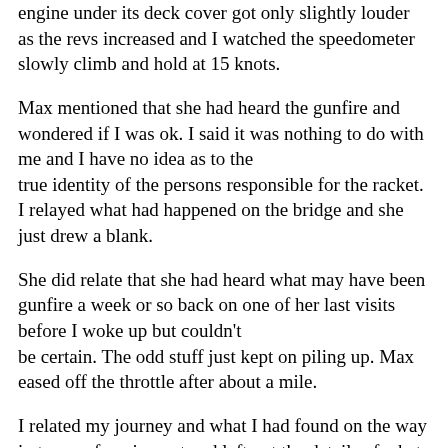engine under its deck cover got only slightly louder as the revs increased and I watched the speedometer slowly climb and hold at 15 knots.
Max mentioned that she had heard the gunfire and wondered if I was ok. I said it was nothing to do with me and I have no idea as to the true identity of the persons responsible for the racket. I relayed what had happened on the bridge and she just drew a blank.
She did relate that she had heard what may have been gunfire a week or so back on one of her last visits before I woke up but couldn't be certain. The odd stuff just kept on piling up. Max eased off the throttle after about a mile.
I related my journey and what I had found on the way in terms of equipment and left out the details of what had apparently happened at the police cordon. I thought a grim reminder of the